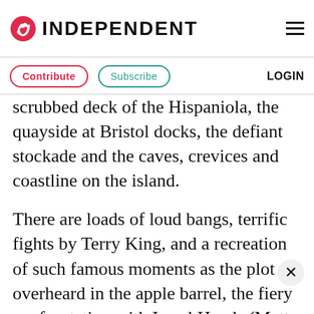INDEPENDENT
Contribute  Subscribe  LOGIN
scrubbed deck of the Hispaniola, the quayside at Bristol docks, the defiant stockade and the caves, crevices and coastline on the island.
There are loads of loud bangs, terrific fights by Terry King, and a recreation of such famous moments as the plot overheard in the apple barrel, the fiery confrontation with Israel Hands (Matt Costain) by Jim lad, the scary tap of Blind Pew's cane along the esplanade by the Admiral Benbow, where the plot stirs and thickens.